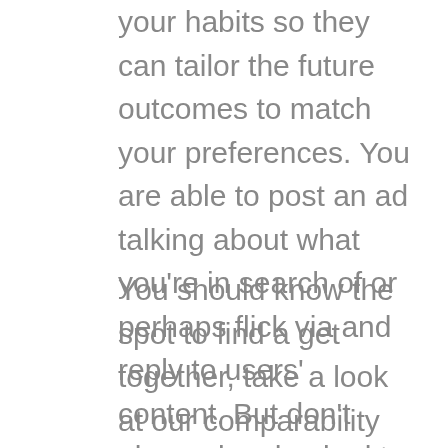your habits so they can tailor the future outcomes to match your preferences. You are able to post an ad talking about what you're in search of or perhaps flick via and reply to users' content. But don't always be shocked to obtain an automated response inviting one to go to additional website.
You should know the spot to find a get together, take a look at our comparability table. A hookup site is a platform the site adults may do discussion and pay for a gathering normally considering the intention of accomplishing no-strings-hooked up hookups. Almost all of those